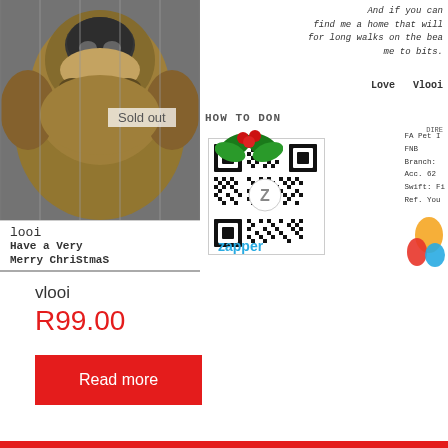[Figure (photo): A product card image showing a dog's face on the left side with text 'Have a Very Merry Christmas' below it, with 'Sold out' overlay and holly decoration in the center, and donation info with QR code and Zapper payment logo on the right side. The right side also shows text 'And if you can find me a home that will for long walks on the bea me to bits. Love Vlooi', 'HOW TO DON', FNB bank details, and a Zapper QR code.]
vlooi
R99.00
Read more